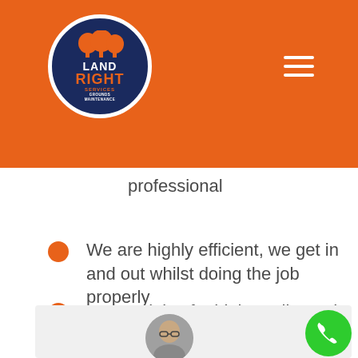[Figure (logo): Land Right Services logo — circular dark navy blue badge with white border, tree silhouette graphic on top, text LAND RIGHT SERVICES in white and orange]
professional
We are highly efficient, we get in and out whilst doing the job properly
Our work is of a high quality and we leave the site in a tidy state
All waste is recycled
[Figure (photo): Testimonial card with circular avatar photo of a bald man with glasses smiling, on a light grey card background]